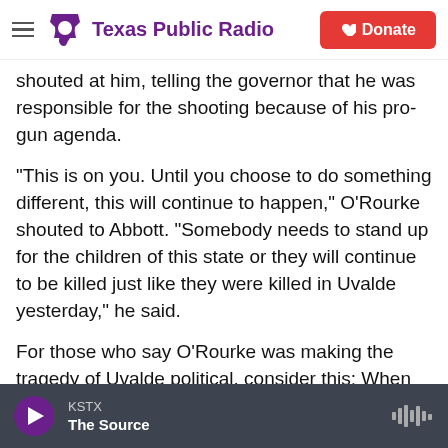Texas Public Radio | Donate
shouted at him, telling the governor that he was responsible for the shooting because of his pro-gun agenda.
"This is on you. Until you choose to do something different, this will continue to happen," O'Rourke shouted to Abbott. "Somebody needs to stand up for the children of this state or they will continue to be killed just like they were killed in Uvalde yesterday," he said.
For those who say O'Rourke was making the tragedy of Uvalde political, consider this: When Abbott and all his fellow Republicans were on
KSTX | The Source